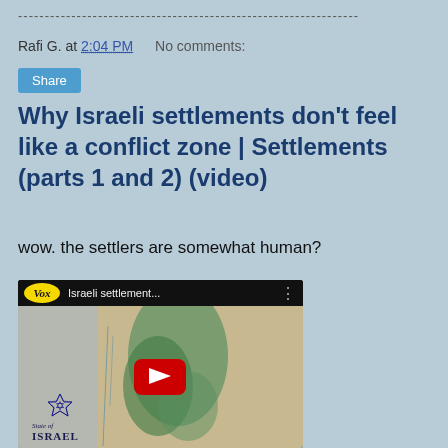------------------------------------------------------------
Rafi G. at 2:04 PM   No comments:
Share
Why Israeli settlements don’t feel like a conflict zone | Settlements (parts 1 and 2) (video)
wow. the settlers are somewhat human?
[Figure (screenshot): YouTube video thumbnail showing a Vox video titled 'Israeli settlement...' with a map of Israel in the background and a red play button in the center.]